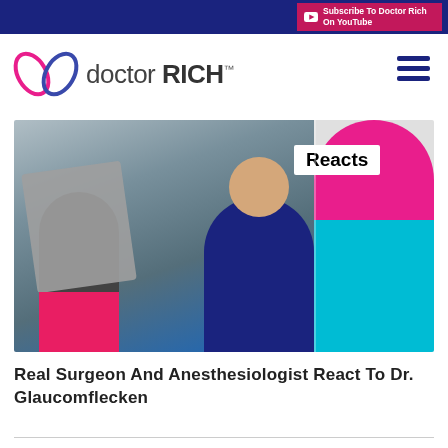Subscribe To Doctor Rich On YouTube
[Figure (logo): Doctor Rich logo with stylized X icon in pink and blue, text 'doctor RICH™']
[Figure (photo): Thumbnail image showing a surgeon and anesthesiologist reacting to Dr. Glaucomflecken. Left side shows two people, one holding a cloth up to their face, the other in blue scrubs pointing a finger. A 'Reacts' label appears in white. Right side shows a person wearing a pink surgical cap peeking over a teal surface.]
Real Surgeon And Anesthesiologist React To Dr. Glaucomflecken